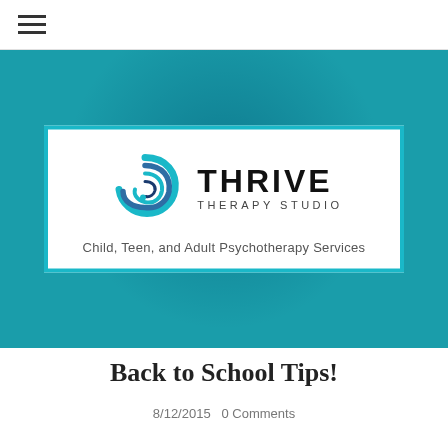☰ (hamburger menu icon)
[Figure (logo): Thrive Therapy Studio logo: a teal/blue spiral on the left, bold text THRIVE with THERAPY STUDIO beneath it. Tagline: Child, Teen, and Adult Psychotherapy Services. Displayed inside a white box with a teal border, set against a teal background hero banner.]
Back to School Tips!
8/12/2015   0 Comments